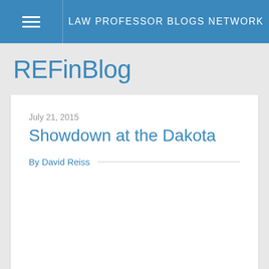LAW PROFESSOR BLOGS NETWORK
REFinBlog
July 21, 2015
Showdown at the Dakota
By David Reiss